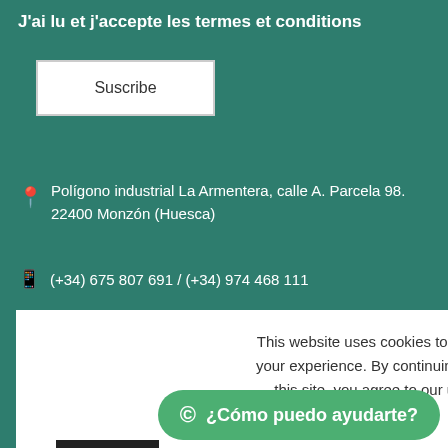J'ai lu et j'accepte les termes et conditions
Suscribe
Polígono industrial La Armentera, calle A. Parcela 98. 22400 Monzón (Huesca)
(+34) 675 807 691 / (+34) 974 468 111
This website uses cookies to improve your experience. By continuing to use this site, you agree to our use of cookies.
ACCEPT
READ MORE
¿Cómo puedo ayudarte?